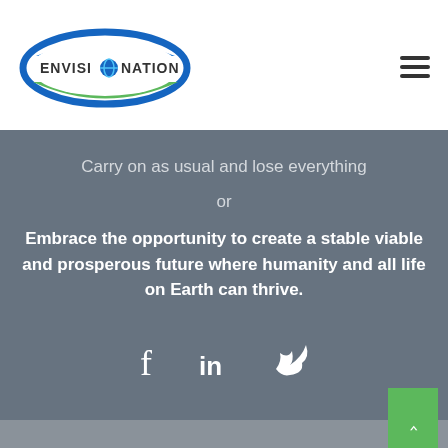[Figure (logo): Envisionation logo — oval shape with blue and green curves, text 'ENVISIONATION' with a globe icon replacing the O]
[Figure (other): Hamburger menu icon — three horizontal dark lines]
Carry on as usual and lose everything
or
Embrace the opportunity to create a stable viable and prosperous future where humanity and all life on Earth can thrive.
[Figure (other): Social media icons row: Facebook (f), LinkedIn (in), Twitter (bird)]
[Figure (other): Back to top button — green rectangle with upward caret arrow]